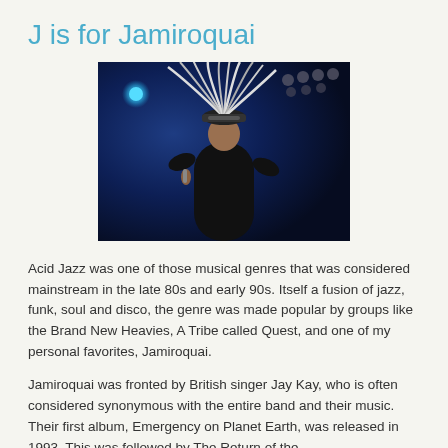J is for Jamiroquai
[Figure (photo): Concert photo of Jamiroquai frontman Jay Kay performing on stage wearing his signature large feathered headdress, holding a microphone, with blue stage lighting behind him.]
Acid Jazz was one of those musical genres that was considered mainstream in the late 80s and early 90s. Itself a fusion of jazz, funk, soul and disco, the genre was made popular by groups like the Brand New Heavies, A Tribe called Quest, and one of my personal favorites, Jamiroquai.
Jamiroquai was fronted by British singer Jay Kay, who is often considered synonymous with the entire band and their music. Their first album, Emergency on Planet Earth, was released in 1993. This was followed by The Return of the